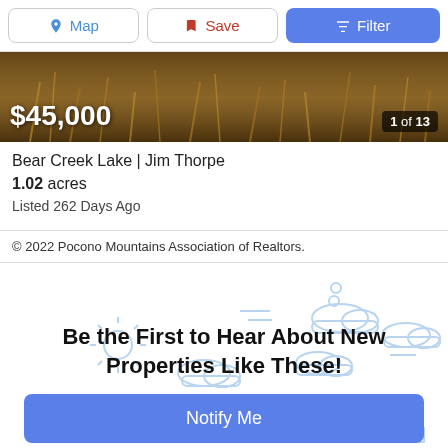Map | Save | Filter
[Figure (photo): Property landscape photo with dry brown vegetation/bushes, showing price $45,000 and counter '1 of 13']
Bear Creek Lake | Jim Thorpe
1.02 acres
Listed 262 Days Ago
© 2022 Pocono Mountains Association of Realtors.
Be the First to Hear About New Properties Like These!
Notify Me